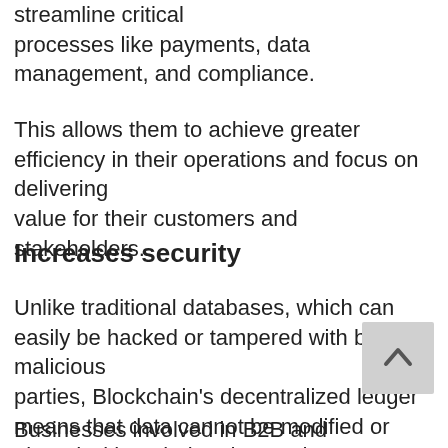streamline critical processes like payments, data management, and compliance.
This allows them to achieve greater efficiency in their operations and focus on delivering value for their customers and stakeholders.
Increases security
Unlike traditional databases, which can easily be hacked or tampered with by malicious parties, Blockchain's decentralized ledger means that data cannot be modified or altered without being detected.
Businesses involved in B2B and B2C can use blockchain technology to secure